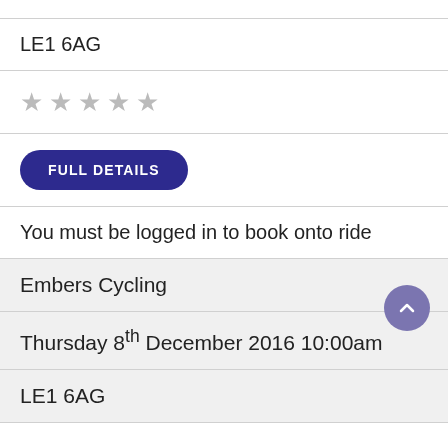LE1 6AG
[Figure (other): Five empty star rating icons (all gray/unselected)]
FULL DETAILS
You must be logged in to book onto ride
Embers Cycling
Thursday 8th December 2016 10:00am
LE1 6AG